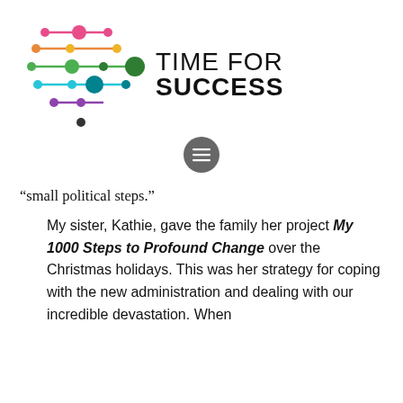[Figure (logo): Time For Success logo with colorful connected dots/circles on horizontal lines in pink, orange, yellow, green, teal, and purple, alongside the text 'TIME FOR SUCCESS']
[Figure (other): Gray circular menu/hamburger icon button]
“small political steps.”
My sister, Kathie, gave the family her project My 1000 Steps to Profound Change over the Christmas holidays. This was her strategy for coping with the new administration and dealing with our incredible devastation. When